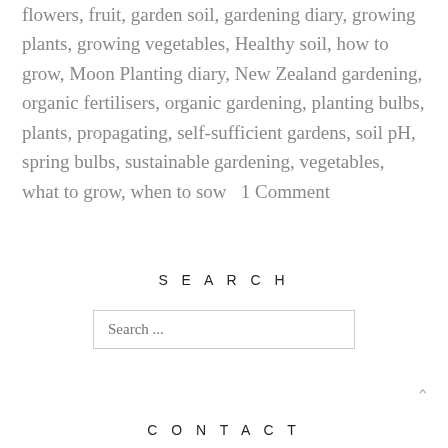flowers, fruit, garden soil, gardening diary, growing plants, growing vegetables, Healthy soil, how to grow, Moon Planting diary, New Zealand gardening, organic fertilisers, organic gardening, planting bulbs, plants, propagating, self-sufficient gardens, soil pH, spring bulbs, sustainable gardening, vegetables, what to grow, when to sow  1 Comment
SEARCH
Search ...
CONTACT